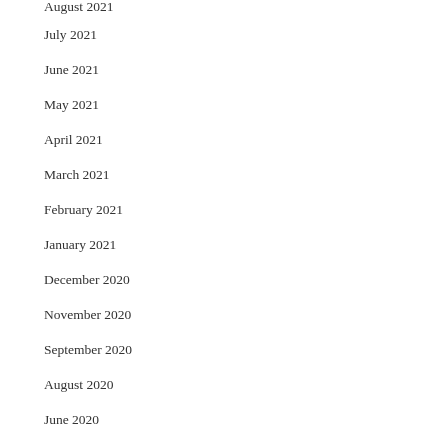August 2021
July 2021
June 2021
May 2021
April 2021
March 2021
February 2021
January 2021
December 2020
November 2020
September 2020
August 2020
June 2020
May 2020
April 2020